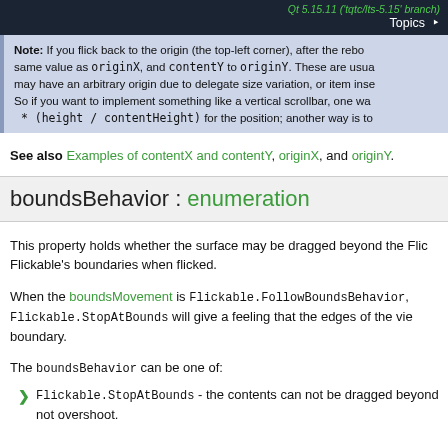Qt 5.15.11 ('tqtc/lts-5.15' branch)  Topics >
Note: If you flick back to the origin (the top-left corner), after the rebo... same value as originX, and contentY to originY. These are usua... may have an arbitrary origin due to delegate size variation, or item inse... So if you want to implement something like a vertical scrollbar, one wa... * (height / contentHeight) for the position; another way is to...
See also Examples of contentX and contentY, originX, and originY.
boundsBehavior : enumeration
This property holds whether the surface may be dragged beyond the Flick... Flickable's boundaries when flicked.
When the boundsMovement is Flickable.FollowBoundsBehavior, Flickable.StopAtBounds will give a feeling that the edges of the vie... boundary.
The boundsBehavior can be one of:
Flickable.StopAtBounds - the contents can not be dragged beyond t... not overshoot.